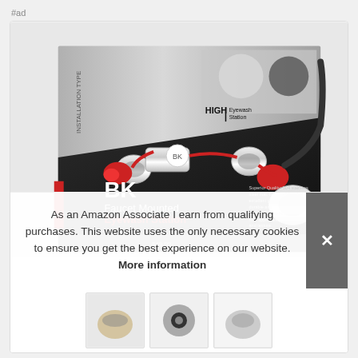#ad
[Figure (photo): Product box image of BK Faucet Mounted Eyewash Station with chrome fittings and red eyecups, HIGH QUALITY Eyewash Station branding on black/silver box packaging]
As an Amazon Associate I earn from qualifying purchases. This website uses the only necessary cookies to ensure you get the best experience on our website. More information
[Figure (photo): Bottom thumbnail strip showing product variant images]